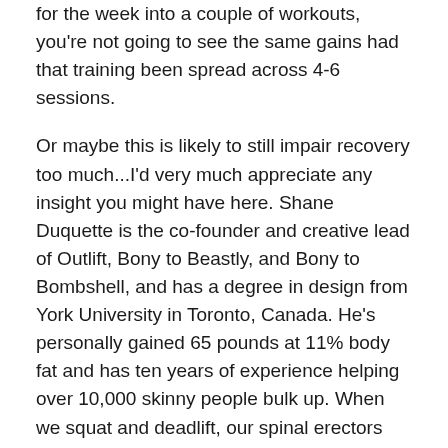for the week into a couple of workouts, you're not going to see the same gains had that training been spread across 4-6 sessions.
Or maybe this is likely to still impair recovery too much...I'd very much appreciate any insight you might have here. Shane Duquette is the co-founder and creative lead of Outlift, Bony to Beastly, and Bony to Bombshell, and has a degree in design from York University in Toronto, Canada. He's personally gained 65 pounds at 11% body fat and has ten years of experience helping over 10,000 skinny people bulk up. When we squat and deadlift, our spinal erectors need to stabilize our spines. When we hold weights in our hands, our upper traps engage.
Day 14
And no, you can't compensate the lack of frequency by